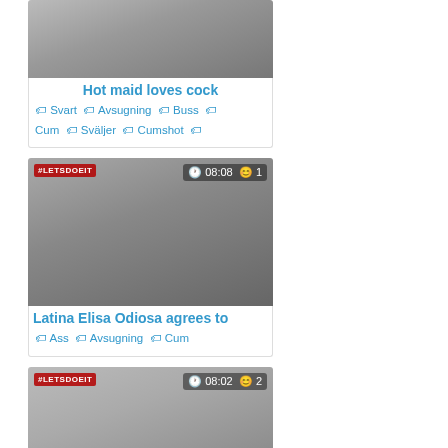[Figure (photo): Video thumbnail for 'Hot maid loves cock' with overlay showing time 08:08 and view count]
Hot maid loves cock
🏷 Svart 🏷 Avsugning 🏷 Buss 🏷 Cum 🏷 Sväljer 🏷 Cumshot 🏷
[Figure (photo): Video thumbnail for 'Latina Elisa Odiosa agrees to' with #LETSDOEIT branding, overlay showing 08:08 and 1 view]
Latina Elisa Odiosa agrees to
🏷 Ass 🏷 Avsugning 🏷 Cum
[Figure (photo): Video thumbnail with #LETSDOEIT branding, overlay showing 08:02 and 2 views]